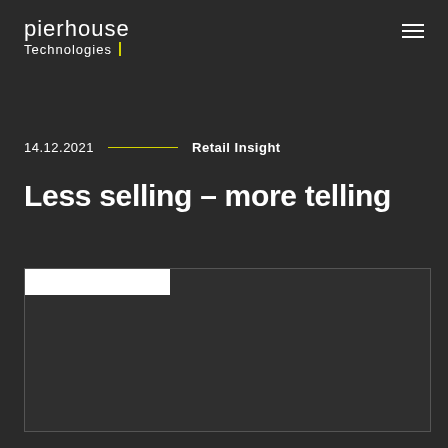pierhouse Technologies
14.12.2021   Retail Insight
Less selling – more telling
[Figure (photo): Partial image placeholder with white bar at top left, dark grey background, bordered rectangle]